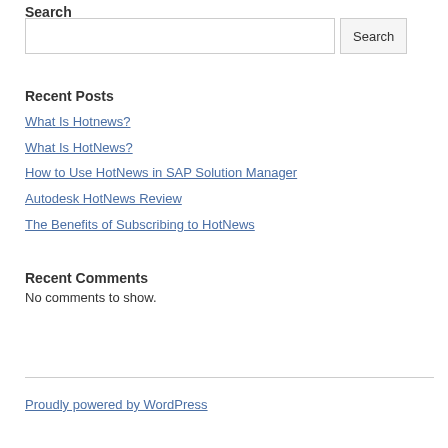Search
Recent Posts
What Is Hotnews?
What Is HotNews?
How to Use HotNews in SAP Solution Manager
Autodesk HotNews Review
The Benefits of Subscribing to HotNews
Recent Comments
No comments to show.
Proudly powered by WordPress